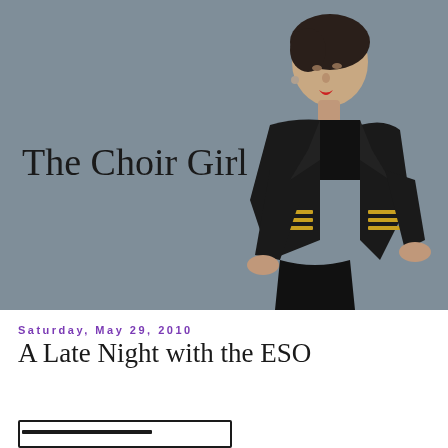[Figure (photo): A person with short dark hair wearing a black blazer with gold stripe details on the sleeves, seated and looking downward, against a gray background. Text 'The Choir Girl' appears on the left side of the image.]
Saturday, May 29, 2010
A Late Night with the ESO